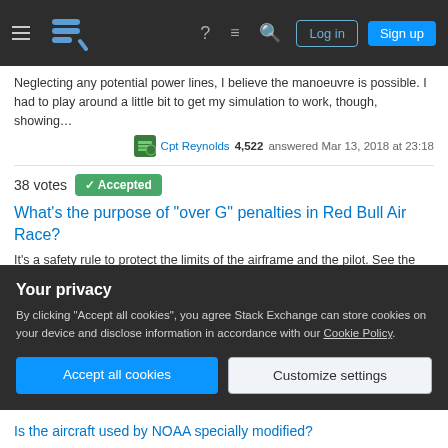Stack Exchange navigation bar with Log in and Sign up buttons
Neglecting any potential power lines, I believe the manoeuvre is possible. I had to play around a little bit to get my simulation to work, though, showing…
Cpt Reynolds 4,522 answered Mar 13, 2018 at 23:18
38 votes Accepted
What's the purpose of "over G" penalties in Red Bull Air Race?
It's a safety rule to protect the limits of the airframe and the pilot. See the video (also on youtube) from this Red Bull Air Race page which explains the rules….
DeltaLima 75.3k answered Jan 22, 2018 at 13:22
38 votes
Your privacy
By clicking "Accept all cookies", you agree Stack Exchange can store cookies on your device and disclose information in accordance with our Cookie Policy.
Accept all cookies
Customize settings
Is the aircraft used by NOAA specially modified?